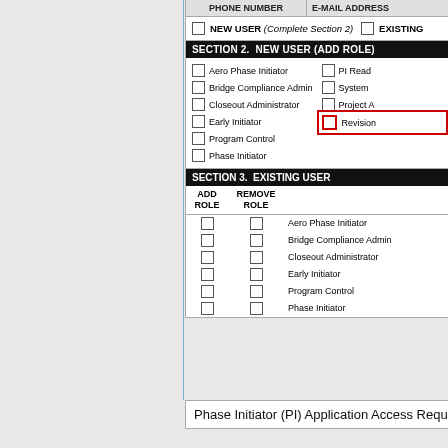| PHONE NUMBER | E-MAIL ADDRESS |
| --- | --- |
NEW USER (Complete Section 2)   EXISTING
SECTION 2.  NEW USER (ADD ROLE)
Aero Phase Initiator
Bridge Compliance Admin
Closeout Administrator
Early Initiator
Program Control
Phase Initiator
PI Read
System
Project A
Revision
SECTION 3.  EXISTING USER
| ADD ROLE | REMOVE ROLE |  |
| --- | --- | --- |
| ☐ | ☐ | Aero Phase Initiator |
| ☐ | ☐ | Bridge Compliance Admin |
| ☐ | ☐ | Closeout Administrator |
| ☐ | ☐ | Early Initiator |
| ☐ | ☐ | Program Control |
| ☐ | ☐ | Phase Initiator |
Phase Initiator (PI) Application Access Request F